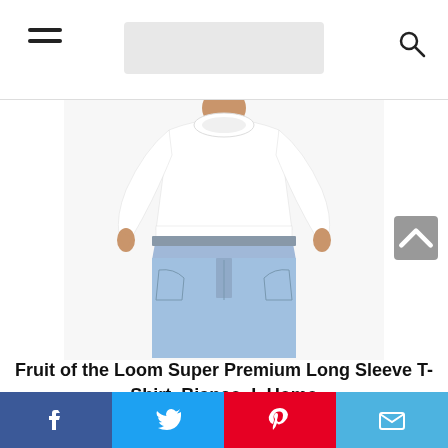Navigation header with hamburger menu, search bar, and search icon
[Figure (photo): Man wearing a white Fruit of the Loom Super Premium Long Sleeve T-Shirt with light blue jeans, shown from neck to mid-thigh against a white background]
Fruit of the Loom Super Premium Long Sleeve T-Shirt, Bianco, L Uomo
Social share buttons: Facebook, Twitter, Pinterest, Email